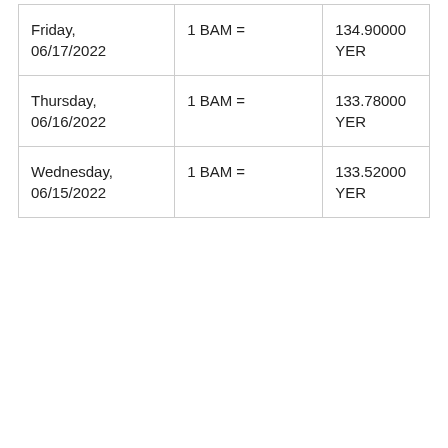| Friday, 06/17/2022 | 1 BAM = | 134.90000 YER |
| Thursday, 06/16/2022 | 1 BAM = | 133.78000 YER |
| Wednesday, 06/15/2022 | 1 BAM = | 133.52000 YER |